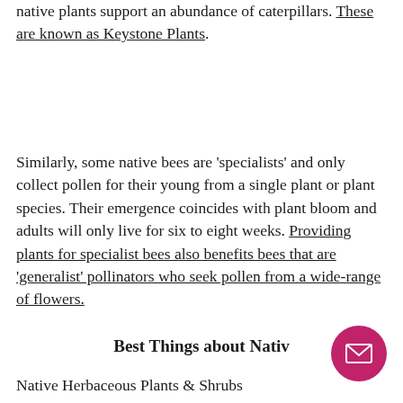native plants support an abundance of caterpillars. These are known as Keystone Plants.
Similarly, some native bees are 'specialists' and only collect pollen for their young from a single plant or plant species. Their emergence coincides with plant bloom and adults will only live for six to eight weeks. Providing plants for specialist bees also benefits bees that are 'generalist' pollinators who seek pollen from a wide-range of flowers.
Best Things about Nativ…
Native Herbaceous Plants & Shrubs